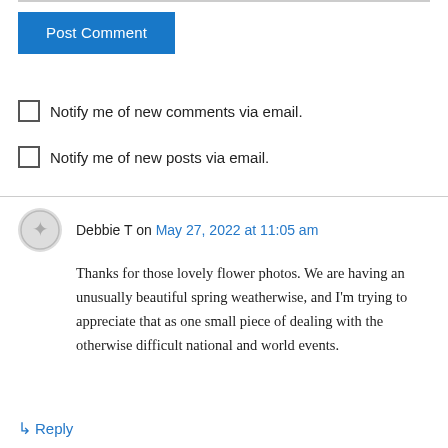[Figure (other): Post Comment button - blue rectangular button with white text]
Notify me of new comments via email.
Notify me of new posts via email.
Debbie T on May 27, 2022 at 11:05 am
Thanks for those lovely flower photos. We are having an unusually beautiful spring weatherwise, and I'm trying to appreciate that as one small piece of dealing with the otherwise difficult national and world events.
↳ Reply